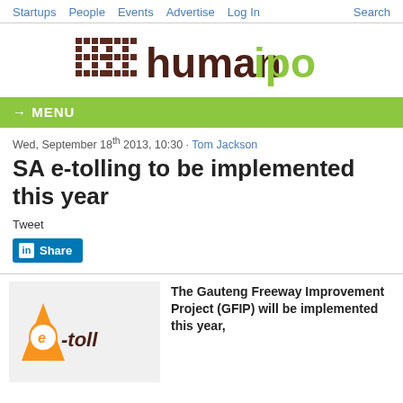Startups  People  Events  Advertise  Log In  Search
[Figure (logo): humanipo logo with hashtag-style pixel grid graphic in brown/dark red and green text]
→ MENU
Wed, September 18th 2013, 10:30 · Tom Jackson
SA e-tolling to be implemented this year
Tweet
Share (LinkedIn)
[Figure (logo): e-toll logo: orange triangle with white e-toll text]
The Gauteng Freeway Improvement Project (GFIP) will be implemented this year,